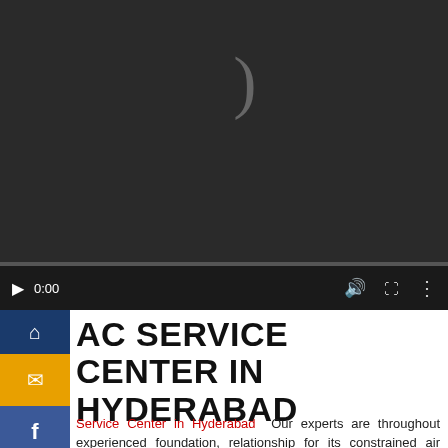[Figure (screenshot): Video player with dark background showing a loading spinner (parenthesis arc symbol), playback controls at bottom including play button, time counter showing 0:00, volume icon, fullscreen icon, and more options icon. Progress bar below controls.]
AC SERVICE CENTER IN HYDERABAD
Service Center in Hyderabad  Our experts are throughout experienced foundation, relationship for its constrained air nework association, which is moreover insinuated ACs. Present-day warmth conditions found in and constrained air